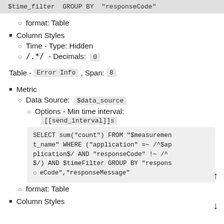$time_filter GROUP BY "responseCode"
format: Table
Column Styles
Time - Type: Hidden
/.*/  - Decimals: 0
Table - Error Info , Span: 8
Metric
Data Source: $data_source
Options - Min time interval: [[send_interval]]s
SELECT sum("count") FROM "$measurement_name" WHERE ("application" =~ /^$application$/ AND "responseCode" !~ /^$/) AND $timeFilter GROUP BY "responseCode","responseMessage"
format: Table
Column Styles